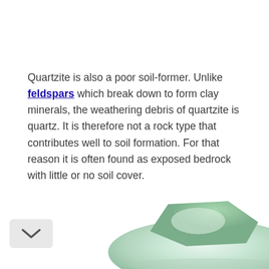Quartzite is also a poor soil-former. Unlike feldspars which break down to form clay minerals, the weathering debris of quartzite is quartz. It is therefore not a rock type that contributes well to soil formation. For that reason it is often found as exposed bedrock with little or no soil cover.
[Figure (photo): A pale green/white quartzite rock specimen photographed against a white background, partially visible at the bottom of the page.]